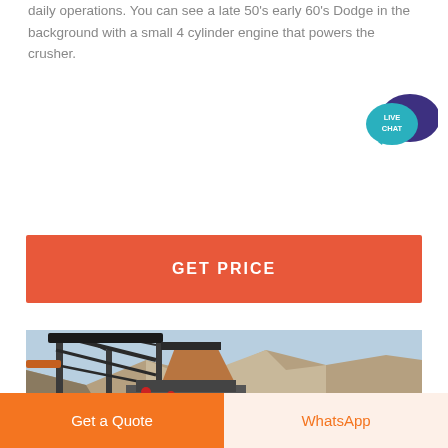daily operations. You can see a late 50's early 60's Dodge in the background with a small 4 cylinder engine that powers the crusher.
[Figure (infographic): Live Chat speech bubble widget icon in teal and dark purple]
GET PRICE
[Figure (photo): Industrial quarry crushing equipment with metal frame structure, conveyor belts, hopper, and rocky hillside in background under blue sky]
Get a Quote
WhatsApp